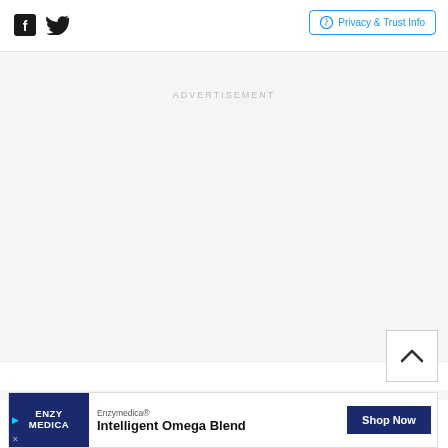Social icons (Facebook, Twitter) | Privacy & Trust Info
ADVERTISEMENT
[Figure (other): Empty advertisement placeholder area (gray background)]
[Figure (other): Scroll to top button with caret/chevron up arrow]
ADVERTISEMENT
[Figure (other): Enzymedica advertisement banner showing logo, 'Intelligent Omega Blend' text and 'Shop Now' button]